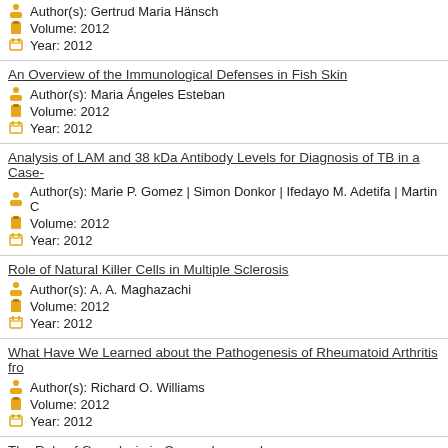Author(s): Gertrud Maria Hänsch
Volume: 2012
Year: 2012
An Overview of the Immunological Defenses in Fish Skin
Author(s): Maria Ángeles Esteban
Volume: 2012
Year: 2012
Analysis of LAM and 38 kDa Antibody Levels for Diagnosis of TB in a Case-
Author(s): Marie P. Gomez | Simon Donkor | Ifedayo M. Adetifa | Martin C
Volume: 2012
Year: 2012
Role of Natural Killer Cells in Multiple Sclerosis
Author(s): A. A. Maghazachi
Volume: 2012
Year: 2012
What Have We Learned about the Pathogenesis of Rheumatoid Arthritis fro
Author(s): Richard O. Williams
Volume: 2012
Year: 2012
The Role of Granulysin in Cancer Immunology
Author(s): Satoshi Okada | Tetsuo Morishita